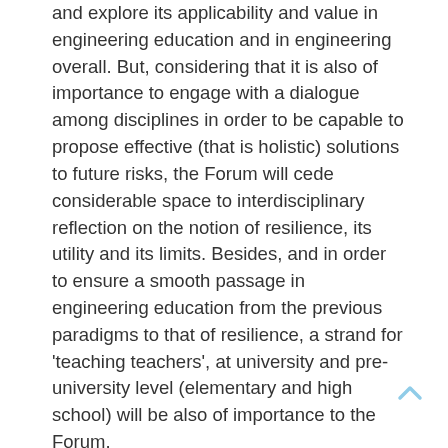and explore its applicability and value in engineering education and in engineering overall. But, considering that it is also of importance to engage with a dialogue among disciplines in order to be capable to propose effective (that is holistic) solutions to future risks, the Forum will cede considerable space to interdisciplinary reflection on the notion of resilience, its utility and its limits. Besides, and in order to ensure a smooth passage in engineering education from the previous paradigms to that of resilience, a strand for 'teaching teachers', at university and pre-university level (elementary and high school) will be also of importance to the Forum.
Choosing Florence for the venue of WEEF 2015 is not a neutral choice, given that the city is historically hit by several devastating floods. Considering the rich learning experiences that these past events offer, as well as the upcoming (in 2016) 50th anniversary of the 1966 flood in Florence, the general theme of the Forum also connects to the Project 'Firenze 2016'. This latter aims at making up a comprehensive project of protection of population and goods, involving all concerned